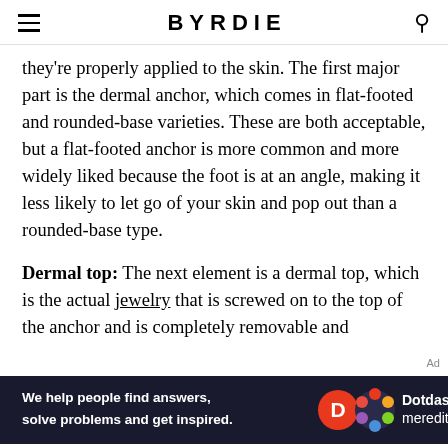BYRDIE
they're properly applied to the skin. The first major part is the dermal anchor, which comes in flat-footed and rounded-base varieties. These are both acceptable, but a flat-footed anchor is more common and more widely liked because the foot is at an angle, making it less likely to let go of your skin and pop out than a rounded-base type.
Dermal top: The next element is a dermal top, which is the actual jewelry that is screwed on to the top of the anchor and is completely removable and
[Figure (infographic): Dotdash Meredith advertisement banner: dark navy background with white text 'We help people find answers, solve problems and get inspired.' alongside red D circle logo and colorful flower logo with Dotdash meredith branding.]